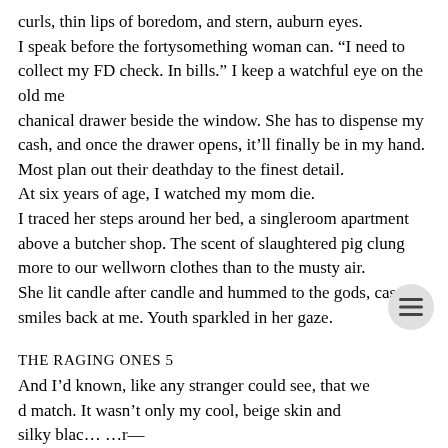curls, thin lips of boredom, and stern, auburn eyes.
I speak before the fortysomething woman can. “I need to collect my FD check. In bills.” I keep a watchful eye on the old me
chanical drawer beside the window. She has to dispense my cash, and once the drawer opens, it’ll finally be in my hand.
Most plan out their deathday to the finest detail.
At six years of age, I watched my mom die.
I traced her steps around her bed, a singleroom apartment above a butcher shop. The scent of slaughtered pig clung more to our wellworn clothes than to the musty air.
She lit candle after candle and hummed to the gods, casting smiles back at me. Youth sparkled in her gaze.
THE RAGING ONES 5
And I’d known, like any stranger could see, that we d match. It wasn’t only my cool, beige skin and silky blac… …r—
but the differences of our eyes, the heart shape of my face to her squared, and as I grew, I didn’t develop curves or a chest